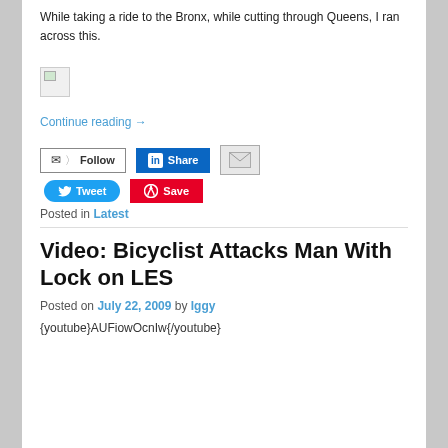While taking a ride to the Bronx, while cutting through Queens, I ran across this.
[Figure (other): Broken image placeholder (small icon with green triangle)]
Continue reading →
[Figure (infographic): Social sharing buttons: Follow, Share (LinkedIn), email icon, Tweet, Save (Pinterest)]
Posted in Latest
Video: Bicyclist Attacks Man With Lock on LES
Posted on July 22, 2009 by Iggy
{youtube}AUFiowOcnIw{/youtube}